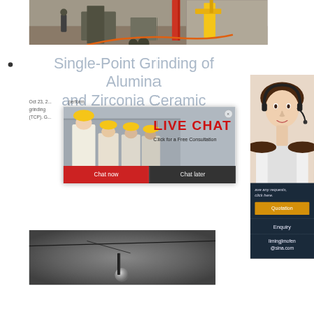[Figure (photo): Construction site photo showing excavation equipment, yellow crane, red scaffolding, machinery]
Single-Point Grinding of Alumina and Zirconia Ceramic
Oct 23, 2... perform... grinding... (TCP). G...
[Figure (photo): Live chat overlay with workers in yellow hard hats, LIVE CHAT text in red, Click for a Free Consultation, Chat now and Chat later buttons]
[Figure (photo): Customer service agent (woman with headset) photo on right side]
ave any requests, click here.
Quotation
Enquiry
limingjlmofen@sina.com
[Figure (photo): Close-up industrial photo showing a cable and metallic sphere, dark grey tones]